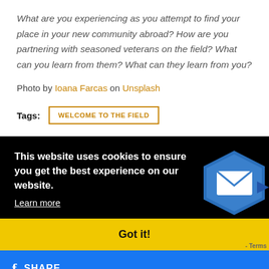What are you experiencing as you attempt to find your place in your new community abroad? How are you partnering with seasoned veterans on the field? What can you learn from them? What can they learn from you?
Photo by Ioana Farcas on Unsplash
Tags: WELCOME TO THE FIELD
This website uses cookies to ensure you get the best experience on our website. Learn more
Got it!
SHARE